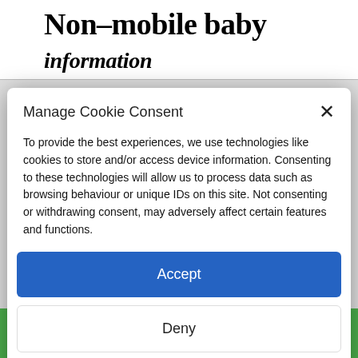Non–mobile baby
Manage Cookie Consent
To provide the best experiences, we use technologies like cookies to store and/or access device information. Consenting to these technologies will allow us to process data such as browsing behaviour or unique IDs on this site. Not consenting or withdrawing consent, may adversely affect certain features and functions.
Accept
Deny
View preferences
Cookie Policy   Privacy & Cookie Policy, Terms of Use